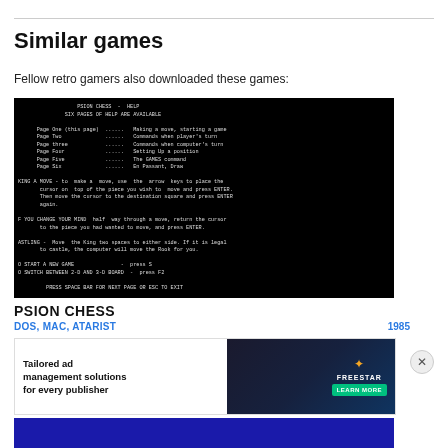Similar games
Fellow retro gamers also downloaded these games:
[Figure (screenshot): Black background retro game screenshot showing Psion Chess help screen with monospace text listing help pages and instructions for making moves, castling, and keyboard commands.]
PSION CHESS
DOS, MAC, ATARIST
1985
[Figure (screenshot): Advertisement banner for Freestar reading 'Tailored ad management solutions for every publisher' with a Learn More button.]
[Figure (screenshot): Partial screenshot of a blue chess board game at the bottom of the page.]